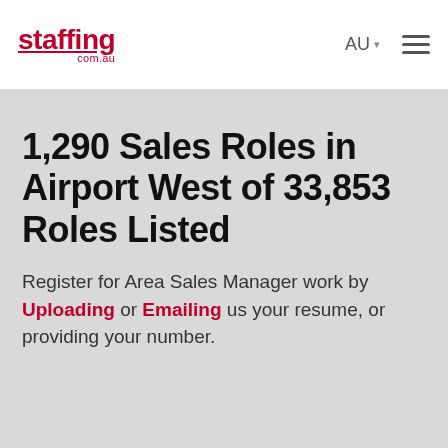staffing.com.au — AU navigation header
1,290 Sales Roles in Airport West of 33,853 Roles Listed
Register for Area Sales Manager work by Uploading or Emailing us your resume, or providing your number.